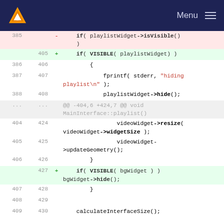[Figure (screenshot): VLC media player website header with logo and Menu hamburger button on dark navy background]
Code diff view showing changes to playlist visibility logic in C++ source code. Lines 385-409 (old) and 405-430 (new) showing deletion of playlistWidget->isVisible() and addition of VISIBLE(playlistWidget), VISIBLE(bgWidget) macros, along with fprintf/hide/resize/updateGeometry calls.